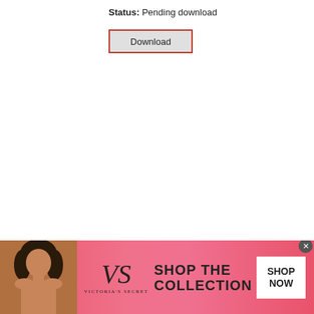Status: Pending download
[Figure (screenshot): A Download button with a red/pink border outline on a light gray background]
[Figure (photo): Victoria's Secret advertisement banner with a woman's photo on the left, the VS logo in the center, 'SHOP THE COLLECTION' text, and a white 'SHOP NOW' button on a pink gradient background]